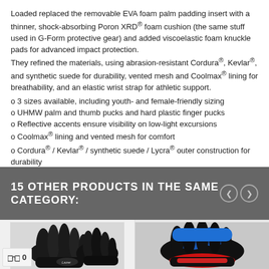Loaded replaced the removable EVA foam palm padding insert with a thinner, shock-absorbing Poron XRD® foam cushion (the same stuff used in G-Form protective gear) and added viscoelastic foam knuckle pads for advanced impact protection. They refined the materials, using abrasion-resistant Cordura®, Kevlar®, and synthetic suede for durability, vented mesh and Coolmax® lining for breathability, and an elastic wrist strap for athletic support.
3 sizes available, including youth- and female-friendly sizing
UHMW palm and thumb pucks and hard plastic finger pucks
Reflective accents ensure visibility on low-light excursions
Coolmax® lining and vented mesh for comfort
Cordura® / Kevlar® / synthetic suede / Lycra® outer construction for durability
Poron XRD® palm padding (same material used in G-Form protective gear) and viscoelastic foam knuckle pad for protection
15 OTHER PRODUCTS IN THE SAME CATEGORY:
[Figure (photo): Two black leather motorcycle/cycling gloves with branding logo]
[Figure (photo): Black and blue/red motorcycle gloves shown from top view]